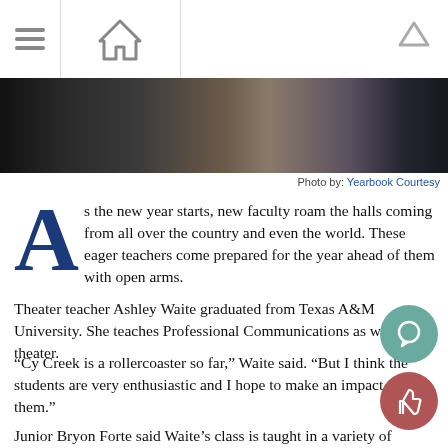Navigation bar with hamburger menu, home icon, and up arrow
[Figure (photo): Dark classroom interior photo used as banner image]
Photo by: Yearbook Courtesy
As the new year starts, new faculty roam the halls coming from all over the country and even the world. These eager teachers come prepared for the year ahead of them with open arms.
Theater teacher Ashley Waite graduated from Texas A&M University. She teaches Professional Communications as well as theater.
“Cy Creek is a rollercoaster so far,” Waite said. “But I think the students are very enthusiastic and I hope to make an impact on them.”
Junior Bryon Forte said Waite’s class is taught in a variety of ways.
“I really like Mrs.Waite,” Forte said. “She makes class fun